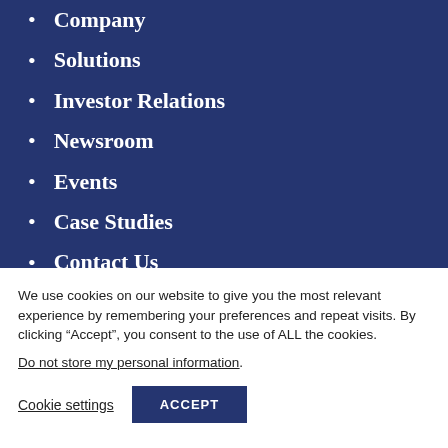Company
Solutions
Investor Relations
Newsroom
Events
Case Studies
Contact Us
TiC Final Rules
We use cookies on our website to give you the most relevant experience by remembering your preferences and repeat visits. By clicking “Accept”, you consent to the use of ALL the cookies.
Do not store my personal information.
Cookie settings  ACCEPT